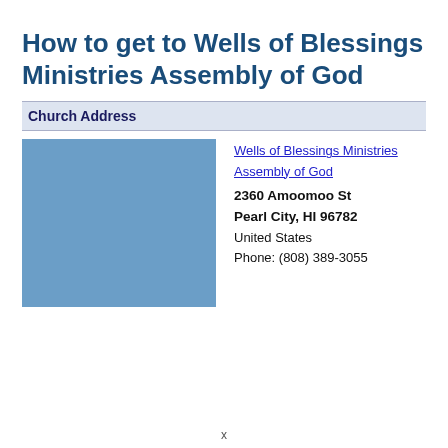How to get to Wells of Blessings Ministries Assembly of God
Church Address
[Figure (map): A blue rectangular placeholder representing a map image for Wells of Blessings Ministries Assembly of God location.]
Wells of Blessings Ministries Assembly of God
2360 Amoomoo St
Pearl City, HI 96782
United States
Phone: (808) 389-3055
x